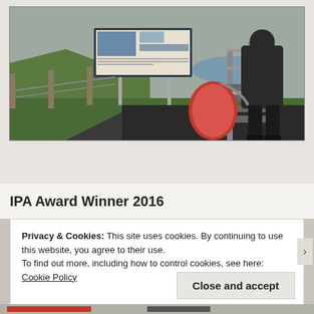[Figure (photo): Outdoor photograph showing a hiker in dark rain gear carrying a red backpack, ascending metal stairs near an information sign board. Green grassy hillside and water visible in background. Overcast weather.]
IPA Award Winner 2016
Privacy & Cookies: This site uses cookies. By continuing to use this website, you agree to their use.
To find out more, including how to control cookies, see here: Cookie Policy
Close and accept